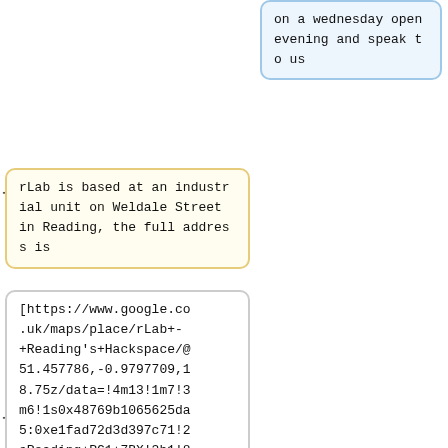on a wednesday open evening and speak to us
rLab is based at an industrial unit on Weldale Street in Reading, the full address is
[https://www.google.co.uk/maps/place/rLab+-+Reading's+Hackspace/@51.457786,-0.9797709,18.75z/data=!4m13!1m7!3m6!1s0x48769b1065625da5:0xe1fad72d3d397c71!2sReading+RG1+7BX!3b1!8m2!3d51.4577547!4d-0.979558!3m4!1s0x48769b106d5205b5:0xfdaee590aa6d6754!8m2!3d51.4576